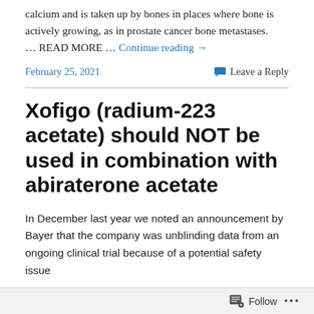calcium and is taken up by bones in places where bone is actively growing, as in prostate cancer bone metastases.
… READ MORE … Continue reading →
February 25, 2021        💬 Leave a Reply
Xofigo (radium-223 acetate) should NOT be used in combination with abiraterone acetate
In December last year we noted an announcement by Bayer that the company was unblinding data from an ongoing clinical trial because of a potential safety issue